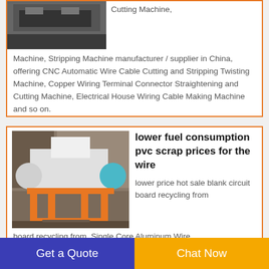[Figure (photo): Industrial wire cutting machine image (partially visible at top)]
Cutting Machine, Machine, Stripping Machine manufacturer / supplier in China, offering CNC Automatic Wire Cable Cutting and Stripping Twisting Machine, Copper Wiring Terminal Connector Straightening and Cutting Machine, Electrical House Wiring Cable Making Machine and so on.
[Figure (photo): Industrial PVC wire shredder machine on orange metal frame]
lower fuel consumption pvc scrap prices for the wire
lower price hot sale blank circuit board recycling from  Single Core Aluminum Wire
Get a Quote
Chat Now